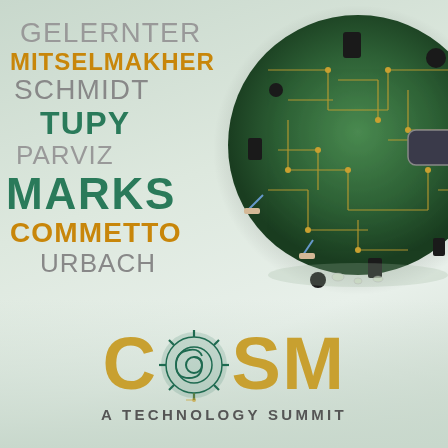[Figure (illustration): 3D circuit board globe/sphere floating, covered with electronic components (capacitors, resistors, chips), green PCB with gold circuit traces, on a light green-grey gradient background]
GELERNTER
MITSELMAKHER
SCHMIDT
TUPY
PARVIZ
MARKS
COMMETTO
URBACH
[Figure (logo): COSM logo: large golden/amber letters spelling COSM with a teal circuit-board spiral gear icon replacing the O, below it reads A TECHNOLOGY SUMMIT in spaced uppercase letters]
A TECHNOLOGY SUMMIT